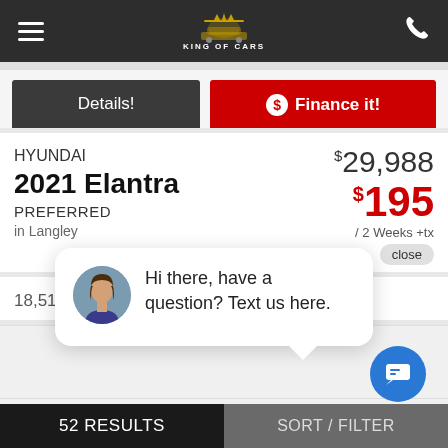King of Cars navigation bar
Details! | Finance it!
HYUNDAI 2021 Elantra PREFERRED in Langley $29,988 $195 / 2 Weeks +tx close
18,512 KM. Au
[Figure (screenshot): Chat popup with female avatar and text: Hi there, have a question? Text us here.]
52 RESULTS | SORT / FILTER